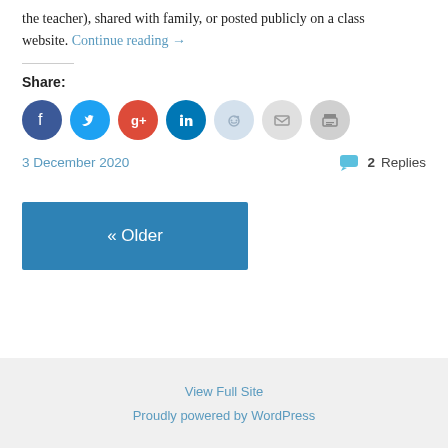the teacher), shared with family, or posted publicly on a class website. Continue reading →
Share:
[Figure (infographic): Social share icons: Facebook (dark blue), Twitter (light blue), Google+ (red), LinkedIn (dark blue), Reddit (light blue-gray), Email (light gray), Print (gray)]
3 December 2020
2 Replies
« Older
View Full Site
Proudly powered by WordPress